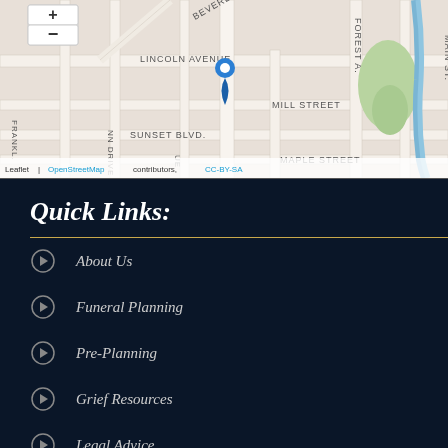[Figure (map): Street map showing location pin on Main St near Lincoln Avenue, with surrounding streets including Sunset Blvd, Mill Street, Maple Street, Forest Ave. Map attribution: Leaflet | OpenStreetMap contributors, CC-BY-SA]
Quick Links:
About Us
Funeral Planning
Pre-Planning
Grief Resources
Legal Advice
Local Resources